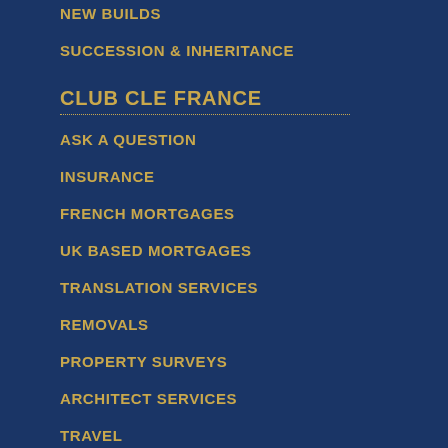NEW BUILDS
SUCCESSION & INHERITANCE
CLUB CLE FRANCE
ASK A QUESTION
INSURANCE
FRENCH MORTGAGES
UK BASED MORTGAGES
TRANSLATION SERVICES
REMOVALS
PROPERTY SURVEYS
ARCHITECT SERVICES
TRAVEL
BANK ACCOUNTS
GITE ACCOMMODATION